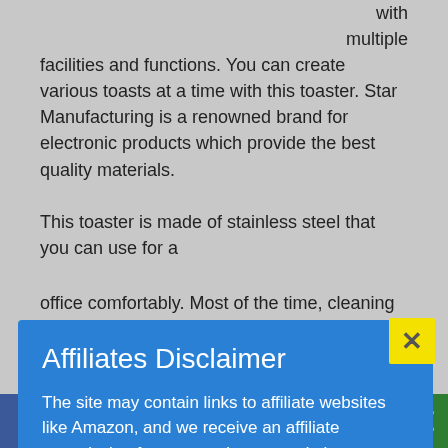with multiple facilities and functions. You can create various toasts at a time with this toaster. Star Manufacturing is a renowned brand for electronic products which provide the best quality materials.
This toaster is made of stainless steel that you can use for a
[Figure (screenshot): Affiliates Disclaimer modal popup with blue background and yellow X close button. Text reads: The site may contain links to affiliate websites like Amazon, and we receive an affiliate commission for any purchases made by you on the affiliate website using such links.]
office comfortably. Most of the time, cleaning is very disgusting and boring. People always want to get rid of this problem. Star Mfg. Toasters are very easy to clean. The adjustable crumb tray is convenient to open and clean.
[Figure (infographic): Social sharing bar with buttons for Facebook, Twitter, Reddit, LinkedIn, Pinterest, MixedW, Mix, WhatsApp, and Share]